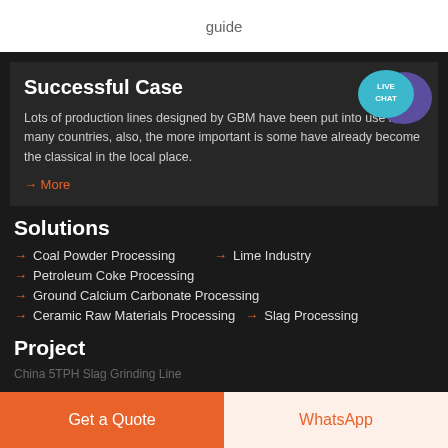guide
Successful Case
Lots of production lines designed by GBM have been put into use in many countries, also, the more important is some have already become the classical in the local place.
→ More
Solutions
→ Coal Powder Processing
→ Lime Industry
→ Petroleum Coke Processing
→ Ground Calcium Carbonate Processing
→ Ceramic Raw Materials Processing
→ Slag Processing
Project
Get a Quote
WhatsApp